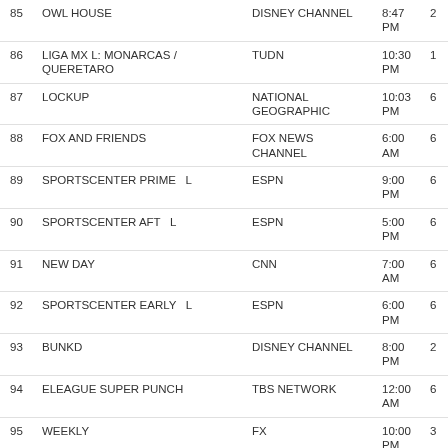| # | Title | Channel | Time |  |
| --- | --- | --- | --- | --- |
| 85 | OWL HOUSE | DISNEY CHANNEL | 8:47 PM | 2 |
| 86 | LIGA MX L: MONARCAS / QUERETARO | TUDN | 10:30 PM | 1 |
| 87 | LOCKUP | NATIONAL GEOGRAPHIC | 10:03 PM | 6 |
| 88 | FOX AND FRIENDS | FOX NEWS CHANNEL | 6:00 AM | 6 |
| 89 | SPORTSCENTER PRIME   L | ESPN | 9:00 PM | 6 |
| 90 | SPORTSCENTER AFT   L | ESPN | 5:00 PM | 6 |
| 91 | NEW DAY | CNN | 7:00 AM | 6 |
| 92 | SPORTSCENTER EARLY   L | ESPN | 6:00 PM | 6 |
| 93 | BUNKD | DISNEY CHANNEL | 8:00 PM | 2 |
| 94 | ELEAGUE SUPER PUNCH | TBS NETWORK | 12:00 AM | 6 |
| 95 | WEEKLY | FX | 10:00 PM | 3 |